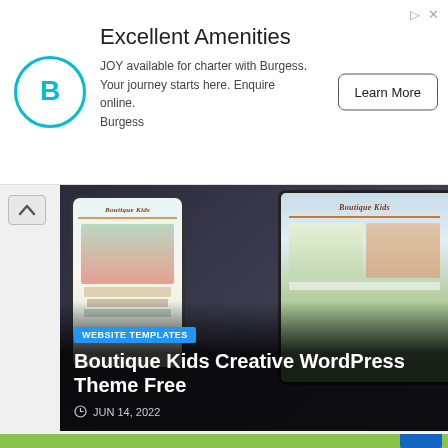[Figure (screenshot): Advertisement banner with Burgess logo (B in teal circle), heading 'Excellent Amenities', description text about JOY charter, and Learn More button]
Excellent Amenities
JOY available for charter with Burgess. Your journey starts here. Enquire online. Burgess
Learn More
[Figure (screenshot): Featured article card showing Boutique Kids Creative WordPress Theme Free, with dark background, tablet device mockups, website templates badge, and date JUN 14, 2022]
WEBSITE TEMPLATES
Boutique Kids Creative WordPress Theme Free
JUN 14, 2022
[Figure (screenshot): Second article card with green background, Beautiful Author Page heading, description about Travelista, Website Templates badge, and Travelista WordPress Theme Free Download title]
BEAUTIFUL AUTHOR PAGE
Author page of Travelista is beautifully designed with parallax color automatically changes based on light or dark background.
WEBSITE TEMPLATES
Travelista WordPress Theme Free Download